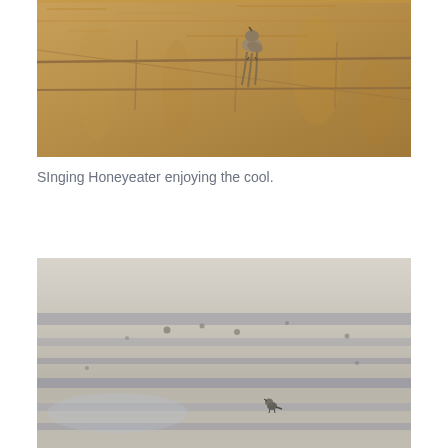[Figure (photo): A bird (Singing Honeyeater) perched upside-down on wire fence with golden/amber dry grass background]
SInging Honeyeater enjoying the cool.
[Figure (photo): A small bird standing on sandy rippled beach/desert ground with pale grey-blue tones and scattered dark spots]